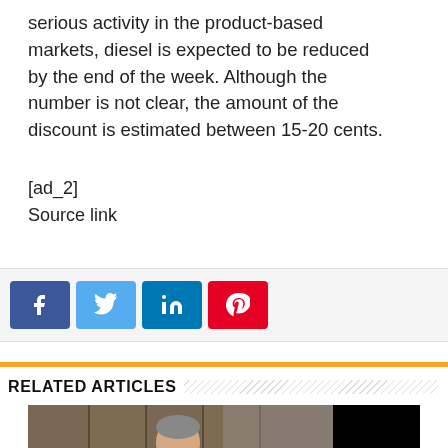serious activity in the product-based markets, diesel is expected to be reduced by the end of the week. Although the number is not clear, the amount of the discount is estimated between 15-20 cents.
[ad_2]
Source link
[Figure (infographic): Social media share buttons: Facebook (blue), Twitter (light blue), LinkedIn (blue), Pinterest (red)]
RELATED ARTICLES
[Figure (photo): A man in a dark suit with a green tie speaking at a podium or microphone, with a wooden panel background. Right portion of image is black.]